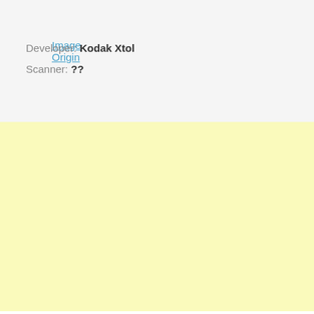Image Origin
Developer: Kodak Xtol
Scanner: ??